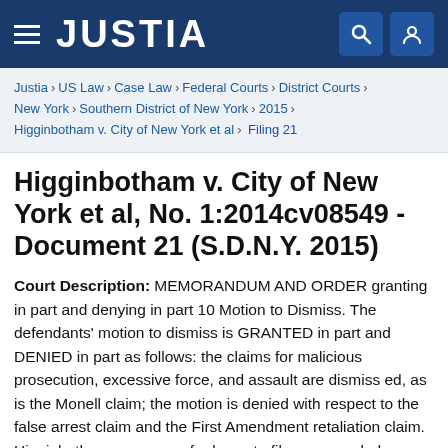JUSTIA
Justia › US Law › Case Law › Federal Courts › District Courts › New York › Southern District of New York › 2015 › Higginbotham v. City of New York et al › Filing 21
Higginbotham v. City of New York et al, No. 1:2014cv08549 - Document 21 (S.D.N.Y. 2015)
Court Description: MEMORANDUM AND ORDER granting in part and denying in part 10 Motion to Dismiss. The defendants' motion to dismiss is GRANTED in part and DENIED in part as follows: the claims for malicious prosecution, excessive force, and assault are dismiss ed, as is the Monell claim; the motion is denied with respect to the false arrest claim and the First Amendment retaliation claim. Higginbotham may move for leave to file an amended complaint within 30 days of